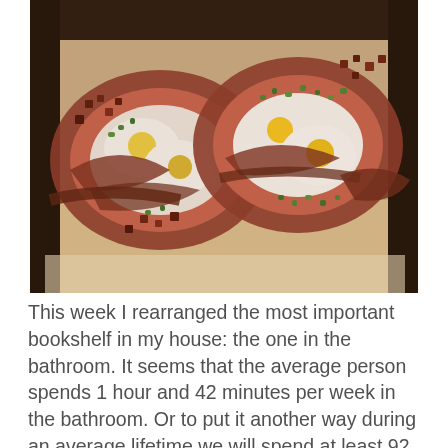[Figure (photo): Close-up food photo of bacon-wrapped egg nests on a baking sheet, topped with diced green onions and ham pieces. Four fried eggs visible in the center of bacon rings.]
This week I rearranged the most important bookshelf in my house: the one in the bathroom. It seems that the average person spends 1 hour and 42 minutes per week in the bathroom. Or to put it another way during an average lifetime we will spend at least 92 full days in the john. Might as well use that time for some encouraging reading. Here below is a photo of my